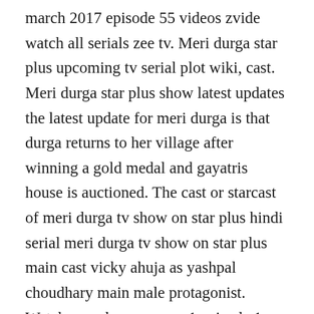march 2017 episode 55 videos zvide watch all serials zee tv. Meri durga star plus upcoming tv serial plot wiki, cast. Meri durga star plus show latest updates the latest update for meri durga is that durga returns to her village after winning a gold medal and gayatris house is auctioned. The cast or starcast of meri durga tv show on star plus hindi serial meri durga tv show on star plus main cast vicky ahuja as yashpal choudhary main male protagonist. Watch maa durga season 1 episode 1 daksha meditates to have mahamaya as his daughter online. Watch meri durga hindi drama tv